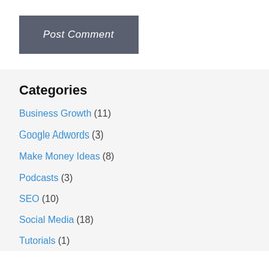Post Comment
Categories
Business Growth (11)
Google Adwords (3)
Make Money Ideas (8)
Podcasts (3)
SEO (10)
Social Media (18)
Tutorials (1)